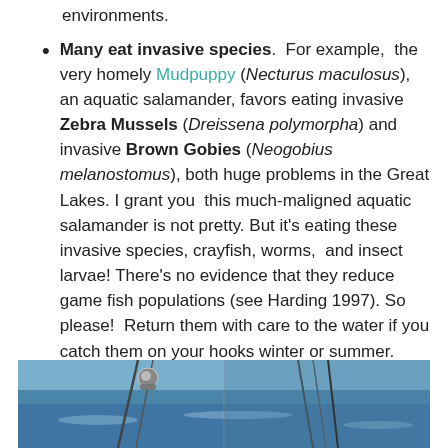environments.
Many eat invasive species. For example, the very homely Mudpuppy (Necturus maculosus), an aquatic salamander, favors eating invasive Zebra Mussels (Dreissena polymorpha) and invasive Brown Gobies (Neogobius melanostomus), both huge problems in the Great Lakes. I grant you this much-maligned aquatic salamander is not pretty. But it’s eating these invasive species, crayfish, worms, and insect larvae! There’s no evidence that they reduce game fish populations (see Harding 1997). So please! Return them with care to the water if you catch them on your hooks winter or summer.
[Figure (photo): Photograph showing water and fishing equipment/boat rigging on what appears to be a body of water on a sunny day.]